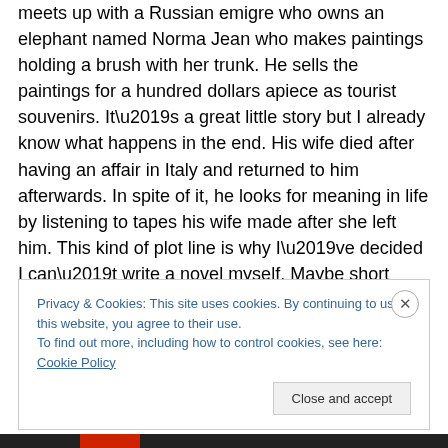meets up with a Russian emigre who owns an elephant named Norma Jean who makes paintings holding a brush with her trunk. He sells the paintings for a hundred dollars apiece as tourist souvenirs. It’s a great little story but I already know what happens in the end. His wife died after having an affair in Italy and returned to him afterwards. In spite of it, he looks for meaning in life by listening to tapes his wife made after she left him. This kind of plot line is why I’ve decided I can’t write a novel myself. Maybe short stories or posts on a blog are all I can handle. My imagination doesn’t spin long enough if you know what I
Privacy & Cookies: This site uses cookies. By continuing to use this website, you agree to their use.
To find out more, including how to control cookies, see here: Cookie Policy